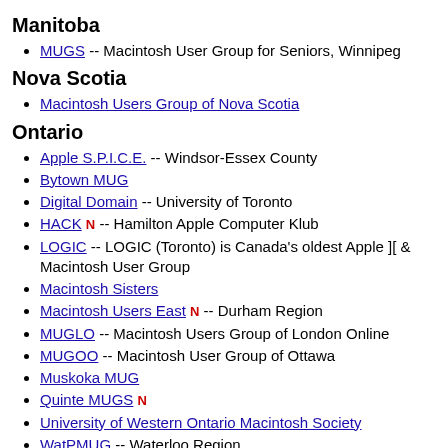Manitoba
MUGS -- Macintosh User Group for Seniors, Winnipeg
Nova Scotia
Macintosh Users Group of Nova Scotia
Ontario
Apple S.P.I.C.E. -- Windsor-Essex County
Bytown MUG
Digital Domain -- University of Toronto
HACK N -- Hamilton Apple Computer Klub
LOGIC -- LOGIC (Toronto) is Canada's oldest Apple ][ & Macintosh User Group
Macintosh Sisters
Macintosh Users East N -- Durham Region
MUGLO -- Macintosh Users Group of London Online
MUGOO -- Macintosh User Group of Ottawa
Muskoka MUG
Quinte MUGS N
University of Western Ontario Macintosh Society
WatPMUG -- Waterloo Region